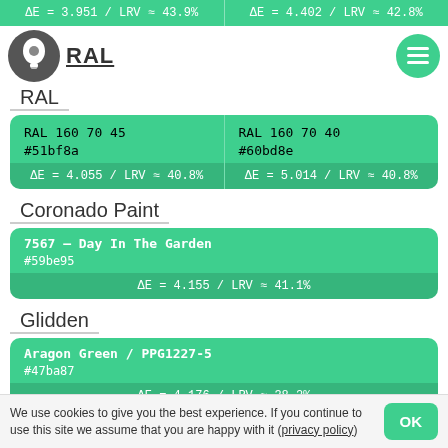ΔE = 3.951 / LRV ≈ 43.9%   |   ΔE = 4.402 / LRV ≈ 42.8%
RAL
| RAL  160 70 45 | RAL  160 70 40 |
| #51bf8a | #60bd8e |
| ΔE = 4.055 / LRV ≈ 40.8% | ΔE = 5.014 / LRV ≈ 40.8% |
Coronado Paint
| 7567 – Day In The Garden |
| #59be95 |
| ΔE = 4.155 / LRV ≈ 41.1% |
Glidden
| Aragon Green / PPG1227-5 |
| #47ba87 |
| ΔE = 4.176 / LRV ≈ 38.2% |
PPG Pittsburgh Paints
We use cookies to give you the best experience. If you continue to use this site we assume that you are happy with it (privacy policy)